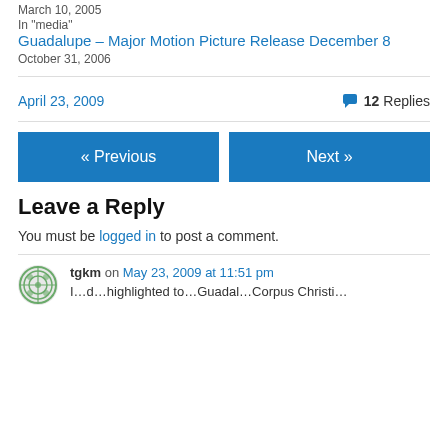March 10, 2005
In "media"
Guadalupe – Major Motion Picture Release December 8
October 31, 2006
April 23, 2009    💬 12 Replies
« Previous
Next »
Leave a Reply
You must be logged in to post a comment.
tgkm on May 23, 2009 at 11:51 pm